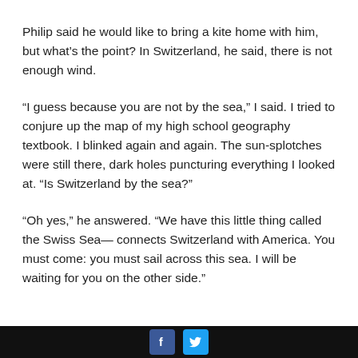Philip said he would like to bring a kite home with him, but what’s the point? In Switzerland, he said, there is not enough wind.
“I guess because you are not by the sea,” I said. I tried to conjure up the map of my high school geography textbook. I blinked again and again. The sun-splotches were still there, dark holes puncturing everything I looked at. “Is Switzerland by the sea?”
“Oh yes,” he answered. “We have this little thing called the Swiss Sea— connects Switzerland with America. You must come: you must sail across this sea. I will be waiting for you on the other side.”
[Facebook] [Twitter]